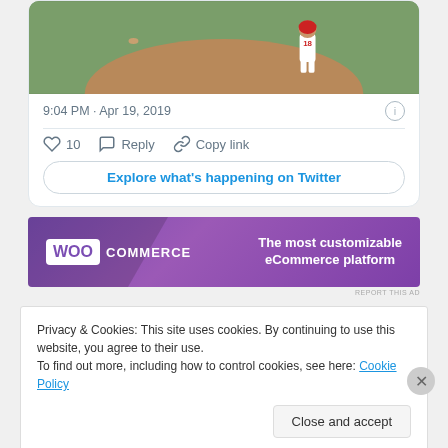[Figure (photo): Baseball field photo showing a player wearing number 18 standing on the field with green grass and dirt infield visible]
9:04 PM · Apr 19, 2019
10    Reply    Copy link
Explore what's happening on Twitter
[Figure (logo): WooCommerce advertisement banner: purple background with WooCommerce logo on left and text 'The most customizable eCommerce platform' on right]
REPORT THIS AD
Privacy & Cookies: This site uses cookies. By continuing to use this website, you agree to their use.
To find out more, including how to control cookies, see here: Cookie Policy
Close and accept
REPORT THIS AD